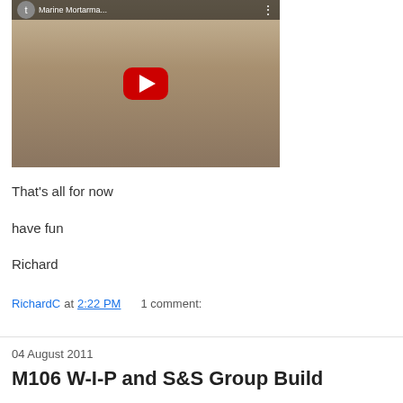[Figure (screenshot): YouTube video thumbnail showing a marine with a mortar weapon in a desert/military setting. Title reads 'Marine Mortarma...' with a red YouTube play button overlay.]
That's all for now
have fun
Richard
RichardC at 2:22 PM    1 comment:
04 August 2011
M106 W-I-P and S&S Group Build